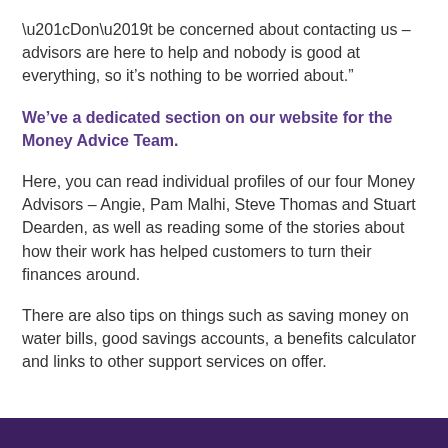“Don’t be concerned about contacting us – advisors are here to help and nobody is good at everything, so it’s nothing to be worried about.”
We’ve a dedicated section on our website for the Money Advice Team.
Here, you can read individual profiles of our four Money Advisors – Angie, Pam Malhi, Steve Thomas and Stuart Dearden, as well as reading some of the stories about how their work has helped customers to turn their finances around.
There are also tips on things such as saving money on water bills, good savings accounts, a benefits calculator and links to other support services on offer.